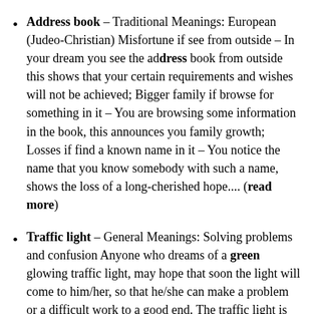Address book - Traditional Meanings: European (Judeo-Christian) Misfortune if see from outside – In your dream you see the address book from outside this shows that your certain requirements and wishes will not be achieved; Bigger family if browse for something in it – You are browsing some information in the book, this announces you family growth; Losses if find a known name in it – You notice the name that you know somebody with such a name, shows the loss of a long-cherished hope.... (read more)
Traffic light - General Meanings: Solving problems and confusion Anyone who dreams of a green glowing traffic light, may hope that soon the light will come to him/her, so that he/she can make a problem or a difficult work to a good end. The traffic light is red, then may be there is